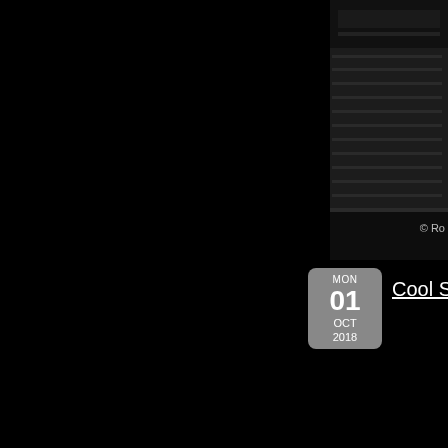[Figure (photo): Dark background with audio/electronic equipment visible in the upper right corner, mostly black]
© Ro
MON
01
OCT
2018
Cool Soun